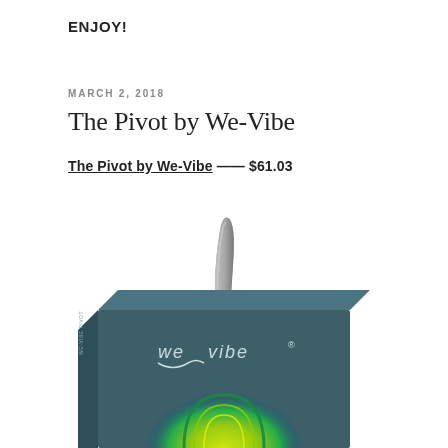ENJOY!
MARCH 2, 2018
The Pivot by We-Vibe
The Pivot by We-Vibe —— $61.03
[Figure (photo): Product box of We-Vibe Pivot, a teal/dark green box with the We-Vibe logo and a grey device sticking out of the top, with a colorful gradient illustration on the front of the box.]